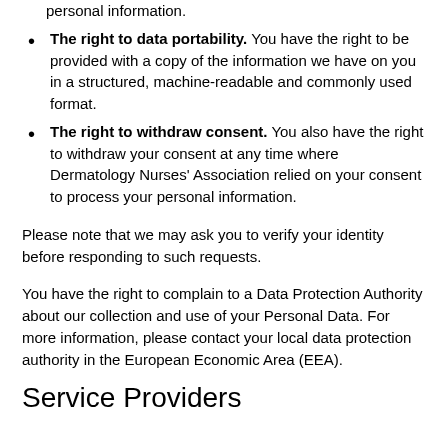The right to data portability. You have the right to be provided with a copy of the information we have on you in a structured, machine-readable and commonly used format.
The right to withdraw consent. You also have the right to withdraw your consent at any time where Dermatology Nurses’ Association relied on your consent to process your personal information.
Please note that we may ask you to verify your identity before responding to such requests.
You have the right to complain to a Data Protection Authority about our collection and use of your Personal Data. For more information, please contact your local data protection authority in the European Economic Area (EEA).
Service Providers